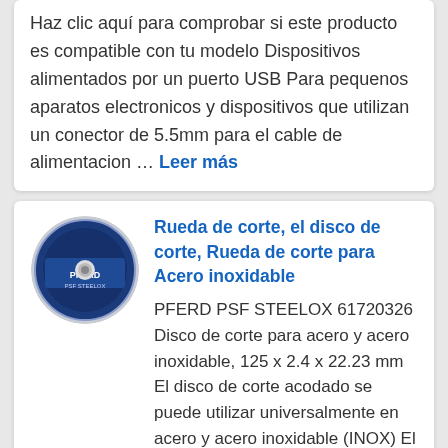Haz clic aquí para comprobar si este producto es compatible con tu modelo Dispositivos alimentados por un puerto USB Para pequenos aparatos electronicos y dispositivos que utilizan un conector de 5.5mm para el cable de alimentacion … Leer más
[Figure (photo): Circular blue cutting disc/wheel product image (PFERD brand)]
Rueda de corte, el disco de corte, Rueda de corte para Acero inoxidable
PFERD PSF STEELOX 61720326 Disco de corte para acero y acero inoxidable, 125 x 2.4 x 22.23 mm El disco de corte acodado se puede utilizar universalmente en acero y acero inoxidable (INOX) El disco de